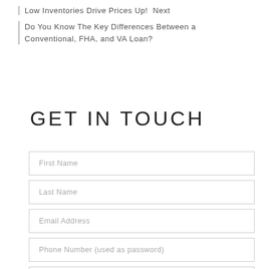Low Inventories Drive Prices Up!  Next
Do You Know The Key Differences Between a Conventional, FHA, and VA Loan?
GET IN TOUCH
First Name
Last Name
Email Address
Phone Number (used as password)
Any questions for us?